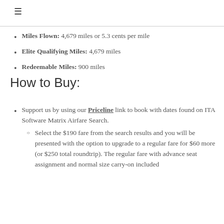≡
Miles Flown: 4,679 miles or 5.3 cents per mile
Elite Qualifying Miles: 4,679 miles
Redeemable Miles: 900 miles
How to Buy:
Support us by using our Priceline link to book with dates found on ITA Software Matrix Airfare Search.
Select the $190 fare from the search results and you will be presented with the option to upgrade to a regular fare for $60 more (or $250 total roundtrip). The regular fare with advance seat assignment and normal size carry-on included